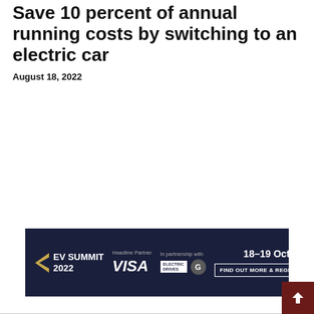Save 10 percent of annual running costs by switching to an electric car
August 18, 2022
[Figure (infographic): EV Summit 2022 advertisement banner with dark navy background. Shows EV Summit 2022 logo with arrow icon, Headline Partner VISA logo, In partnership with Electric Drives and G logos, date 18-19 October, and a Find Out More & Register button.]
[Figure (logo): Electric Drives logo in dark red/crimson bold uppercase letters]